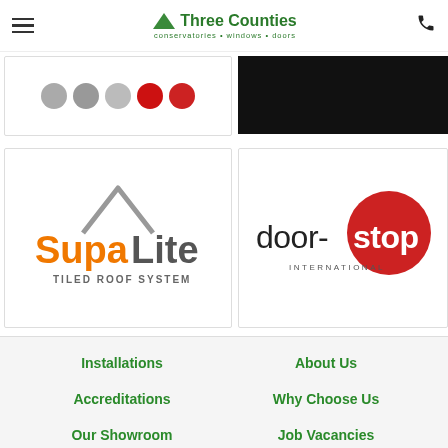Three Counties — conservatories • windows • doors
[Figure (logo): Partial view of social media icons (greyed out circles and red icons)]
[Figure (photo): Black image/photo partially visible on right side]
[Figure (logo): SupaLite Tiled Roof System logo — orange text with grey roof outline]
[Figure (logo): door-stop International logo — black text with red circle]
Installations
About Us
Accreditations
Why Choose Us
Our Showroom
Job Vacancies